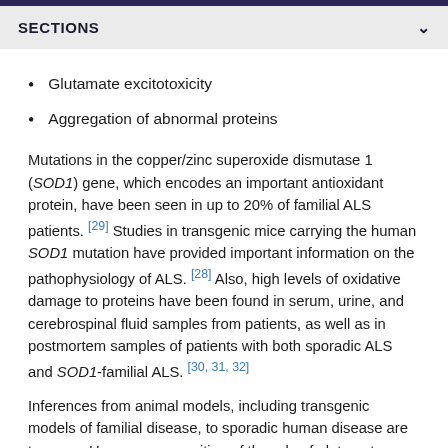SECTIONS
Glutamate excitotoxicity
Aggregation of abnormal proteins
Mutations in the copper/zinc superoxide dismutase 1 (SOD1) gene, which encodes an important antioxidant protein, have been seen in up to 20% of familial ALS patients. [29] Studies in transgenic mice carrying the human SOD1 mutation have provided important information on the pathophysiology of ALS. [28] Also, high levels of oxidative damage to proteins have been found in serum, urine, and cerebrospinal fluid samples from patients, as well as in postmortem samples of patients with both sporadic ALS and SOD1-familial ALS. [30, 31, 32]
Inferences from animal models, including transgenic models of familial disease, to sporadic human disease are tenuous. However, recognition of the role of glutamate